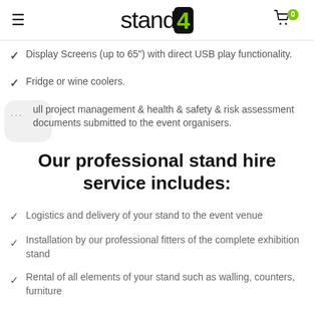stand4
Display Screens (up to 65") with direct USB play functionality.
Fridge or wine coolers.
Full project management & health & safety & risk assessment documents submitted to the event organisers.
Our professional stand hire service includes:
Logistics and delivery of your stand to the event venue
Installation by our professional fitters of the complete exhibition stand
Rental of all elements of your stand such as walling, counters, furniture